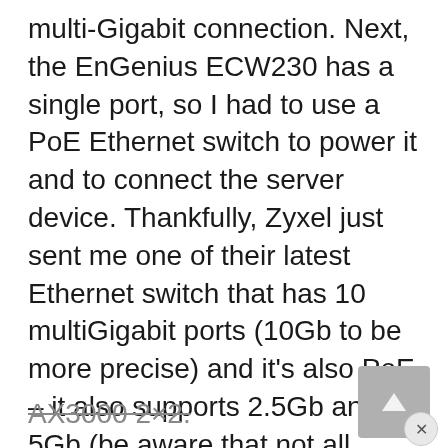multi-Gigabit connection. Next, the EnGenius ECW230 has a single port, so I had to use a PoE Ethernet switch to power it and to connect the server device. Thankfully, Zyxel just sent me one of their latest Ethernet switch that has 10 multiGigabit ports (10Gb to be more precise) and it's also PoE – it also supports 2.5Gb and 5Gb (be aware that not all Ethernet switches do). As for the client device, I used the same computer equipped with the TP-Link TX3000E adapter and it's the best the consumer-level market has to offer right now:
AX3000 2×2.